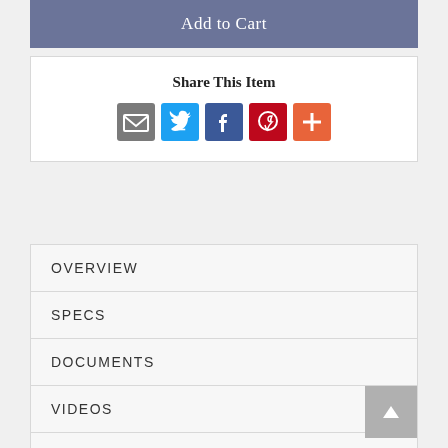Add to Cart
Share This Item
[Figure (other): Social share icons: Email, Twitter, Facebook, Pinterest, More]
OVERVIEW
SPECS
DOCUMENTS
VIDEOS
DELIVERY